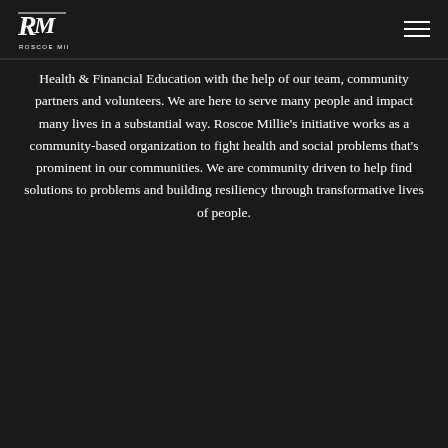Roscoe Millie logo and navigation
Health & Financial Education with the help of our team, community partners and volunteers. We are here to serve many people and impact many lives in a substantial way. Roscoe Millie’s initiative works as a community-based organization to fight health and social problems that’s prominent in our communities. We are community driven to help find solutions to problems and building resiliency through transformative lives of people.